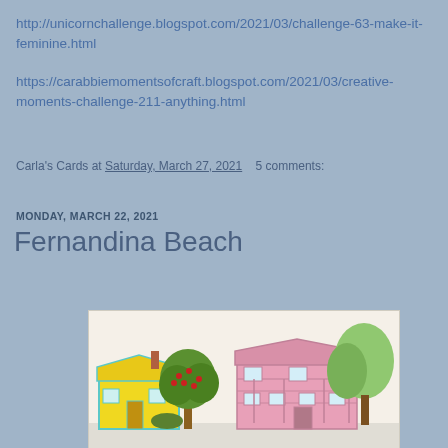http://unicornchallenge.blogspot.com/2021/03/challenge-63-make-it-feminine.html
https://carabbiemomentsofcraft.blogspot.com/2021/03/creative-moments-challenge-211-anything.html
Carla's Cards at Saturday, March 27, 2021    5 comments:
MONDAY, MARCH 22, 2021
Fernandina Beach
[Figure (illustration): Illustration of colorful houses with trees — a yellow house on the left with a teal trim, a flowering tree in the middle, and a pink Victorian-style house on the right, with green trees in the background.]